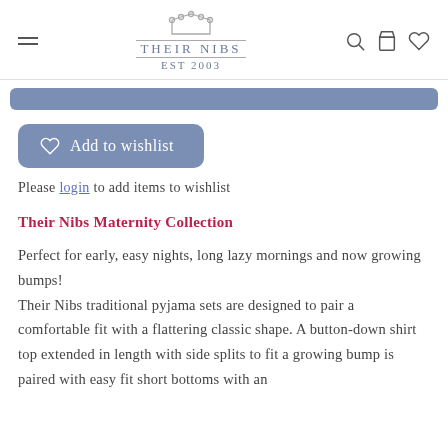THEIR NIBS EST 2003
[Figure (other): Blue add to cart bar (partially visible)]
[Figure (other): Add to wishlist button with heart icon]
Please login to add items to wishlist
Their Nibs Maternity Collection
Perfect for early, easy nights, long lazy mornings and now growing bumps! Their Nibs traditional pyjama sets are designed to pair a comfortable fit with a flattering classic shape. A button-down shirt top extended in length with side splits to fit a growing bump is paired with easy fit short bottoms with an